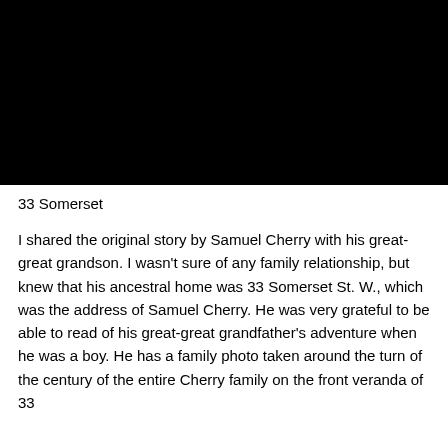[Figure (photo): A large black rectangular image area, likely a dark or night photograph]
33 Somerset
I shared the original story by Samuel Cherry with his great-great grandson. I wasn't sure of any family relationship, but knew that his ancestral home was 33 Somerset St. W., which was the address of Samuel Cherry. He was very grateful to be able to read of his great-great grandfather's adventure when he was a boy. He has a family photo taken around the turn of the century of the entire Cherry family on the front veranda of 33